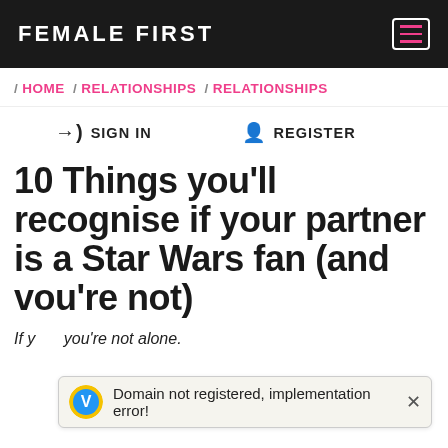FEMALE FIRST
/ HOME / RELATIONSHIPS / RELATIONSHIPS
➜ SIGN IN   ▲ REGISTER
10 Things you'll recognise if your partner is a Star Wars fan (and vou're not)
If y... you're not alone.
Domain not registered, implementation error!